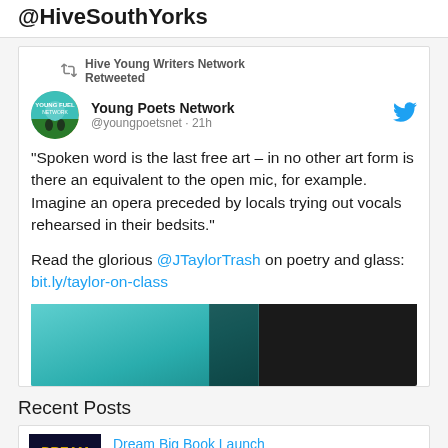@HiveSouthYorks
Hive Young Writers Network Retweeted
Young Poets Network @youngpoetsnet · 21h
"Spoken word is the last free art – in no other art form is there an equivalent to the open mic, for example. Imagine an opera preceded by locals trying out vocals rehearsed in their bedsits."
Read the glorious @JTaylorTrash on poetry and glass: bit.ly/taylor-on-class
[Figure (photo): Tweet image preview, teal/turquoise color with dark section]
Recent Posts
[Figure (photo): Dream Big Book Launch thumbnail, dark blue with figures]
Dream Big Book Launch
21st August 2022